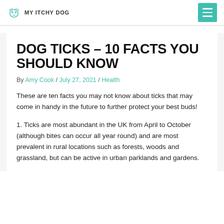MY ITCHY DOG
DOG TICKS – 10 FACTS YOU SHOULD KNOW
By Amy Cook / July 27, 2021 / Health
These are ten facts you may not know about ticks that may come in handy in the future to further protect your best buds!
1. Ticks are most abundant in the UK from April to October (although bites can occur all year round) and are most prevalent in rural locations such as forests, woods and grassland, but can be active in urban parklands and gardens.